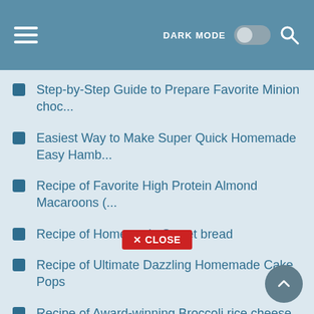DARK MODE [toggle] [search]
Step-by-Step Guide to Prepare Favorite Minion choc...
Easiest Way to Make Super Quick Homemade Easy Hamb...
Recipe of Favorite High Protein Almond Macaroons (...
Recipe of Homemade Sweet bread
Recipe of Ultimate Dazzling Homemade Cake Pops
Recipe of Award-winning Broccoli rice cheese soup
Steps to Make Favorite My Sous Vide Ribeye Steak.....
Recipe of Ultimate Chili Crabs 🦀🦀🦀
Step-by-Step Guide to Prepare Super Quick Homemade...
How to Prepare Quick Bella's Best Bean Chili
How to Make Award-winning Simple sandwiche